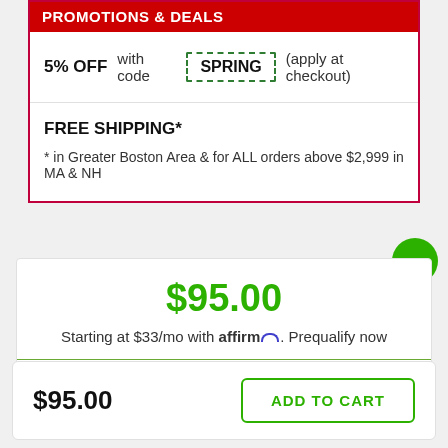PROMOTIONS & DEALS
5% OFF with code SPRING (apply at checkout)
FREE SHIPPING*
* in Greater Boston Area & for ALL orders above $2,999 in MA & NH
$95.00
Starting at $33/mo with affirm. Prequalify now
Estimate Shipping Fees
$95.00
ADD TO CART